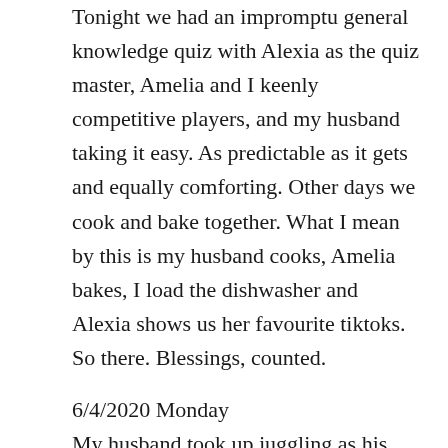Tonight we had an impromptu general knowledge quiz with Alexia as the quiz master, Amelia and I keenly competitive players, and my husband taking it easy. As predictable as it gets and equally comforting. Other days we cook and bake together. What I mean by this is my husband cooks, Amelia bakes, I load the dishwasher and Alexia shows us her favourite tiktoks.
So there. Blessings, counted.
6/4/2020 Monday
My husband took up juggling as his once a day exercise activity. Every afternoon he puts on his tracksuit bottoms and trainers, picks up his balls, and off he goes to a stretch of grass at the end of our road. He comes back 45 minutes later, out of breath and rosy cheeks. I ask him how juggling can be so tiring, he says